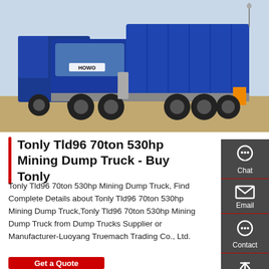[Figure (photo): Blue HOWO mining dump truck parked on a dirt surface, side/front view showing large tipper body, with additional blue trucks in background]
Tonly Tld96 70ton 530hp Mining Dump Truck - Buy Tonly
Tonly Tld96 70ton 530hp Mining Dump Truck, Find Complete Details about Tonly Tld96 70ton 530hp Mining Dump Truck,Tonly Tld96 70ton 530hp Mining Dump Truck from Dump Trucks Supplier or Manufacturer-Luoyang Truemach Trading Co., Ltd.
[Figure (other): Side panel with Chat, Email, Contact, and Top navigation buttons on dark grey background]